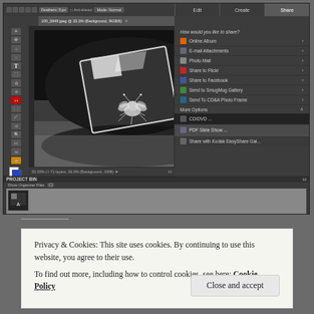[Figure (screenshot): Adobe Photoshop Elements screenshot showing a black and white photo of a reflective surface (possibly a hat or lens) with a metallic bee/insect figure. The right panel shows a Share menu with options: Online Album, E-mail Attachments, Photo Mail, Share to Flickr, Share to Facebook, Send to SmugMug Gallery, Send To CD&N Photo Frame, More Options, CD/DVD..., PDF Slide Show..., Share with Kodak EasyShare Gallery. The bottom shows a Project Bin with a thumbnail.]
Privacy & Cookies: This site uses cookies. By continuing to use this website, you agree to their use.
To find out more, including how to control cookies, see here: Cookie Policy
Close and accept